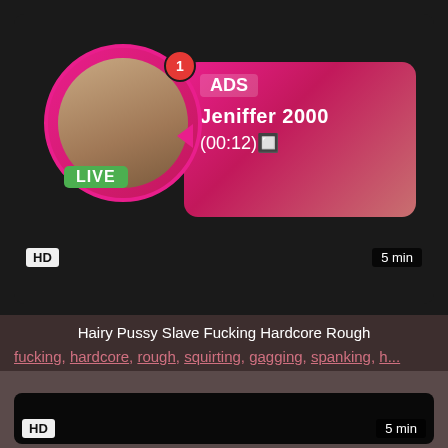[Figure (screenshot): Adult content advertisement banner with live stream preview. Shows profile photo in pink circle with LIVE badge, gradient pink ad box with 'ADS', 'Jeniffer 2000', '(00:12)' text, HD badge, and 5 min duration.]
Hairy Pussy Slave Fucking Hardcore Rough
fucking, hardcore, rough, squirting, gagging, spanking, h...
[Figure (screenshot): Dark/black video player placeholder with HD badge bottom-left and 5 min badge bottom-right.]